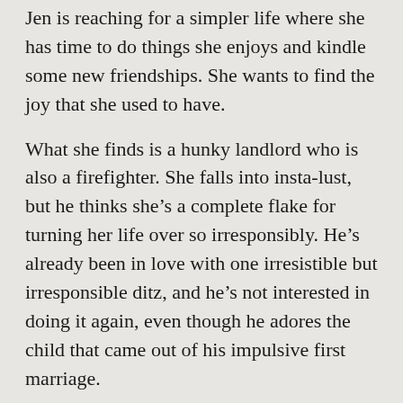Jen is reaching for a simpler life where she has time to do things she enjoys and kindle some new friendships. She wants to find the joy that she used to have.
What she finds is a hunky landlord who is also a firefighter. She falls into insta-lust, but he thinks she's a complete flake for turning her life over so irresponsibly. He's already been in love with one irresistible but irresponsible ditz, and he's not interested in doing it again, even though he adores the child that came out of his impulsive first marriage.
Jen creates a new life for herself, and hopes that her landlord will eventually get the stick out of his ass and see that the sparks they generate could lead to a real relationship. Garrett, in turn, tries to force himself into a relationship with someone steady and solid. It takes him a long time to realize that the heart wants